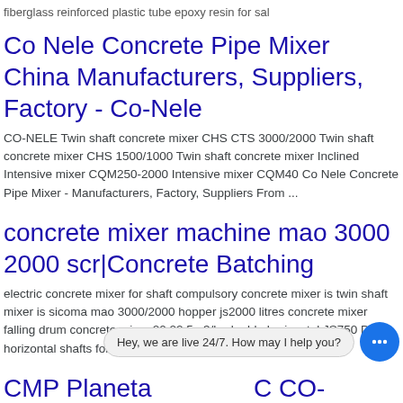fiberglass reinforced plastic tube epoxy resin for sal
Co Nele Concrete Pipe Mixer China Manufacturers, Suppliers, Factory - Co-Nele
CO-NELE Twin shaft concrete mixer CHS CTS 3000/2000 Twin shaft concrete mixer CHS 1500/1000 Twin shaft concrete mixer Inclined Intensive mixer CQM250-2000 Intensive mixer CQM40 Co Nele Concrete Pipe Mixer - Manufacturers, Factory, Suppliers From ...
concrete mixer machine mao 3000 2000 scr|Concrete Batching
electric concrete mixer for shaft compulsory concrete mixer is twin shaft mixer is sicoma mao 3000/2000 hopper js2000 litres concrete mixer falling drum concrete mixer 20 22.5m3/h, double horizontal JS750 Dual horizontal shafts forced concrete mixer bet
CMP Planetary ... CO-NELE